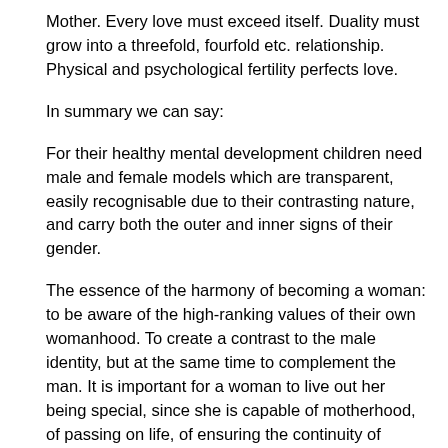Mother. Every love must exceed itself. Duality must grow into a threefold, fourfold etc. relationship. Physical and psychological fertility perfects love.
In summary we can say:
For their healthy mental development children need male and female models which are transparent, easily recognisable due to their contrasting nature, and carry both the outer and inner signs of their gender.
The essence of the harmony of becoming a woman: to be aware of the high-ranking values of their own womanhood. To create a contrast to the male identity, but at the same time to complement the man. It is important for a woman to live out her being special, since she is capable of motherhood, of passing on life, of ensuring the continuity of human life. This idea is well expressed in an English proverb with which I would like to end my article:
" The hand that rocks the cradle is the one which moves the world."